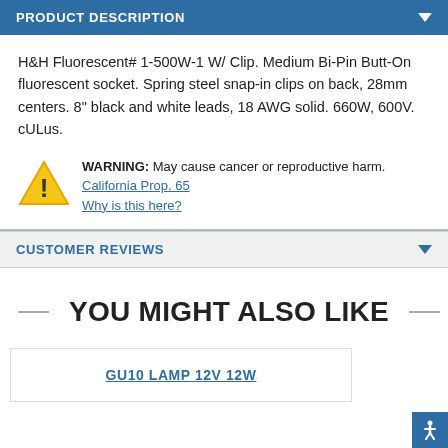PRODUCT DESCRIPTION
H&H Fluorescent# 1-500W-1 W/ Clip. Medium Bi-Pin Butt-On fluorescent socket. Spring steel snap-in clips on back, 28mm centers. 8" black and white leads, 18 AWG solid. 660W, 600V. cULus.
WARNING: May cause cancer or reproductive harm.
California Prop. 65
Why is this here?
CUSTOMER REVIEWS
YOU MIGHT ALSO LIKE
GU10 LAMP 12V 12W